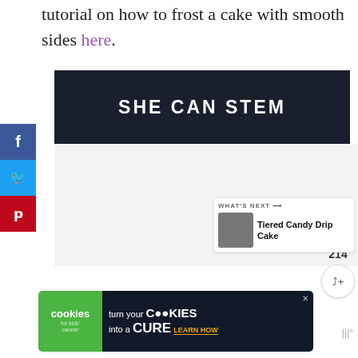tutorial on how to frost a cake with smooth sides here.
[Figure (screenshot): Dark banner advertisement with white bold text reading SHE CAN STEM]
[Figure (screenshot): Social media share sidebar with Facebook (blue), Twitter (light blue), and Pinterest (red) buttons]
[Figure (screenshot): Heart/like button (purple circle) with count 214, and share button below]
WHAT'S NEXT → Tiered Candy Drip Cake
[Figure (screenshot): Advertisement banner: cookies for kids cancer - turn your COOKIES into a CURE LEARN HOW]